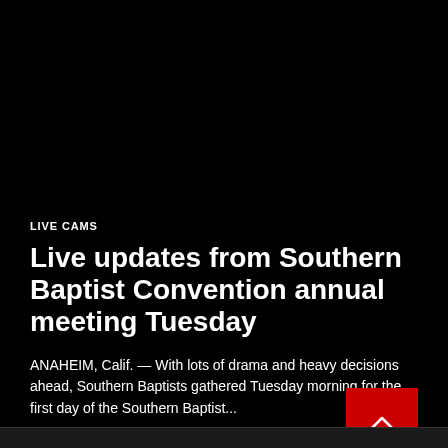LIVE CAMS
Live updates from Southern Baptist Convention annual meeting Tuesday
ANAHEIM, Calif. — With lots of drama and heavy decisions ahead, Southern Baptists gathered Tuesday morning for the first day of the Southern Baptist...
Sophie Letto — June 14, 2022